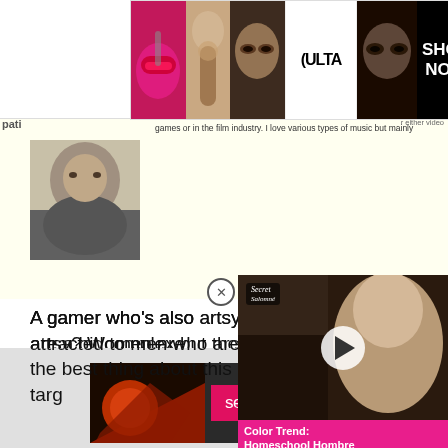[Figure (photo): ULTA beauty advertisement banner with makeup images and SHOP NOW call-to-action]
games or in the film industry. I love various types of music but mainly
[Figure (photo): Profile photo of a person, partially visible]
A gamer who’s also artsy? Women are attracted to men who are a bit complex but the best thing about this headline is that he’s targeting two types of women at the same time – a types. Cast your net wide, m
[Figure (screenshot): Video overlay showing a woman with text 'Color Trend: Homeschool Hombre' in pink banner, with play button]
9: Melt her heart
[Figure (photo): Seamless food delivery advertisement with pizza image, seamless logo and ORDER NOW button, with CLOSE button]